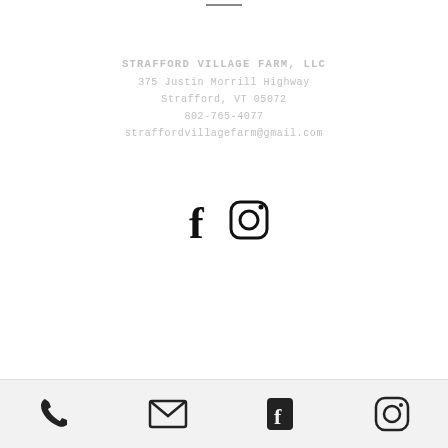STRAFFORD VILLAGE FARM, LLC
375 Justin Morrill Highway
Strafford, VT 05072
802-765-4077
straffordvillagefarm@gmail.com
[Figure (illustration): Facebook and Instagram social media icons side by side]
Phone, Email, Facebook, Instagram icons in footer bar